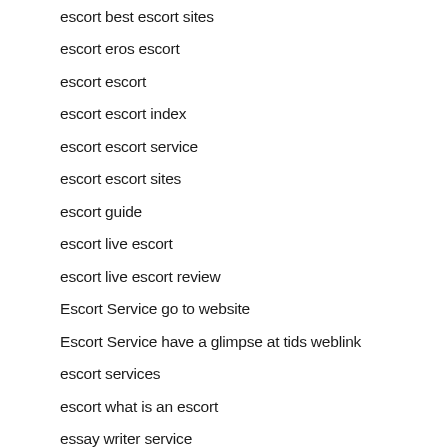escort best escort sites
escort eros escort
escort escort
escort escort index
escort escort service
escort escort sites
escort guide
escort live escort
escort live escort review
Escort Service go to website
Escort Service have a glimpse at tids weblink
escort services
escort what is an escort
essay writer service
essay writer.com
essay writing rubric
Established Men reviews
Established Men visitors